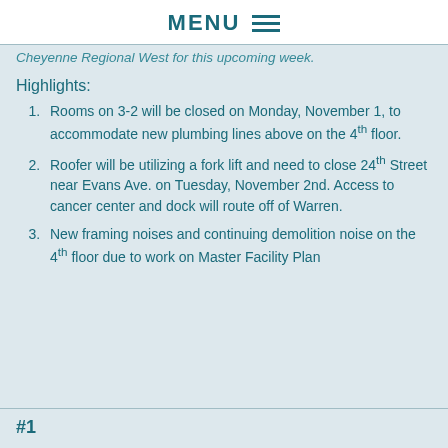MENU
Cheyenne Regional West for this upcoming week.
Highlights:
Rooms on 3-2 will be closed on Monday, November 1, to accommodate new plumbing lines above on the 4th floor.
Roofer will be utilizing a fork lift and need to close 24th Street near Evans Ave. on Tuesday, November 2nd. Access to cancer center and dock will route off of Warren.
New framing noises and continuing demolition noise on the 4th floor due to work on Master Facility Plan
#1